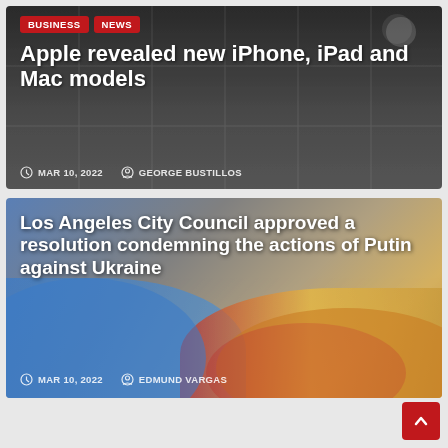[Figure (photo): Apple Store glass facade with people visible, dark background]
Apple revealed new iPhone, iPad and Mac models
MAR 10, 2022  GEORGE BUSTILLOS
[Figure (photo): Ukrainian and Russian flags, hands holding flags, blue and orange/red colors]
Los Angeles City Council approved a resolution condemning the actions of Putin against Ukraine
MAR 10, 2022  EDMUND VARGAS